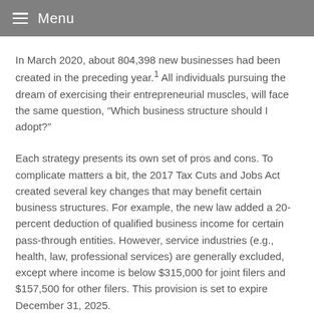Menu
In March 2020, about 804,398 new businesses had been created in the preceding year.1 All individuals pursuing the dream of exercising their entrepreneurial muscles, will face the same question, “Which business structure should I adopt?”
Each strategy presents its own set of pros and cons. To complicate matters a bit, the 2017 Tax Cuts and Jobs Act created several key changes that may benefit certain business structures. For example, the new law added a 20-percent deduction of qualified business income for certain pass-through entities. However, service industries (e.g., health, law, professional services) are generally excluded, except where income is below $315,000 for joint filers and $157,500 for other filers. This provision is set to expire December 31, 2025.